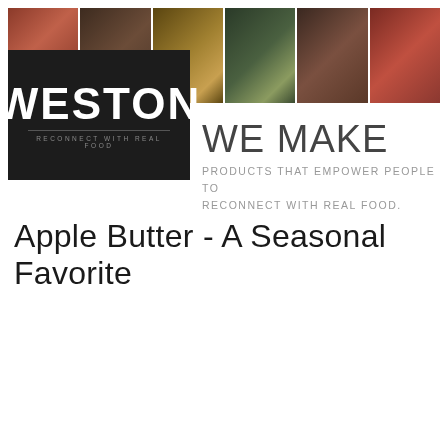[Figure (logo): Weston brand banner with food photography strip across top, Weston logo on dark background (RECONNECT WITH REAL FOOD), and tagline WE MAKE PRODUCTS THAT EMPOWER PEOPLE TO RECONNECT WITH REAL FOOD.]
Apple Butter - A Seasonal Favorite